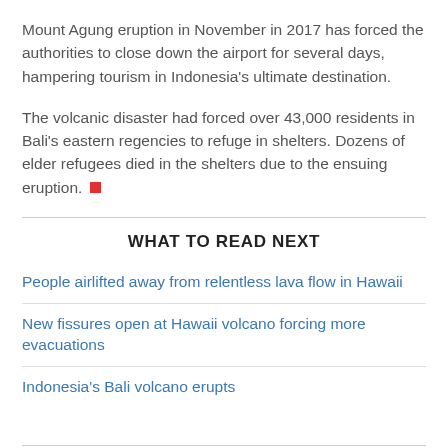Mount Agung eruption in November in 2017 has forced the authorities to close down the airport for several days, hampering tourism in Indonesia’s ultimate destination.
The volcanic disaster had forced over 43,000 residents in Bali's eastern regencies to refuge in shelters. Dozens of elder refugees died in the shelters due to the ensuing eruption.
WHAT TO READ NEXT
People airlifted away from relentless lava flow in Hawaii
New fissures open at Hawaii volcano forcing more evacuations
Indonesia's Bali volcano erupts